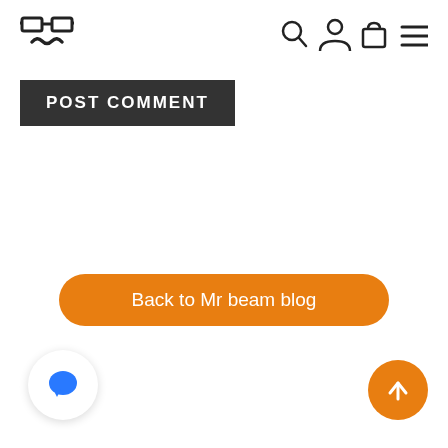[Figure (logo): Mr Beam logo: glasses icon with mustache below]
[Figure (infographic): Navigation icons: search (magnifier), user (person), cart (bag), menu (hamburger lines)]
POST COMMENT
Back to Mr beam blog
[Figure (illustration): Blue chat bubble icon inside white circle button]
[Figure (illustration): White upward arrow icon inside orange circle button]